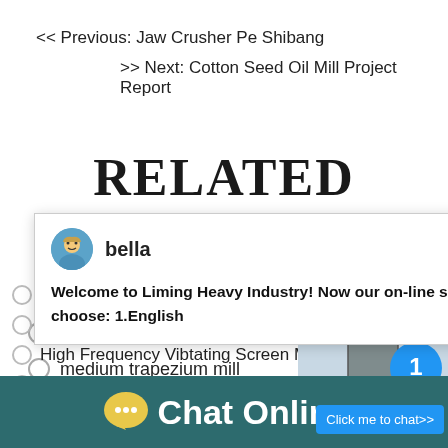<< Previous: Jaw Crusher Pe Shibang
>> Next: Cotton Seed Oil Mill Project Report
RELATED CASES
[Figure (screenshot): Chat popup from bella: Welcome to Liming Heavy Industry! Now our on-line service is chatting with you! please choose: 1.English]
medium trapezium mill
rod mill for work index in iran
High Frequency Vibtating Screen Mineral
stone crusher plant machinery orissa
[Figure (photo): Industrial machinery/crusher equipment photo on right side panel]
Chat Online